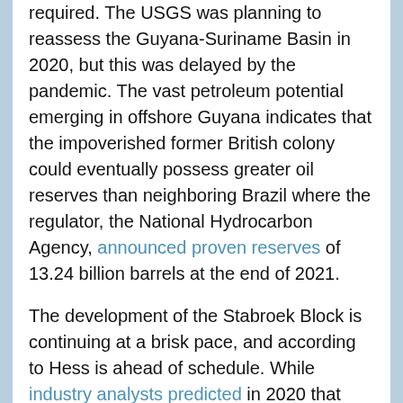required. The USGS was planning to reassess the Guyana-Suriname Basin in 2020, but this was delayed by the pandemic. The vast petroleum potential emerging in offshore Guyana indicates that the impoverished former British colony could eventually possess greater oil reserves than neighboring Brazil where the regulator, the National Hydrocarbon Agency, announced proven reserves of 13.24 billion barrels at the end of 2021.
The development of the Stabroek Block is continuing at a brisk pace, and according to Hess is ahead of schedule. While industry analysts predicted in 2020 that Guyana will be pumping 1.2 million barrels of crude oil daily by 2017, there is every indication, based on the latest developments, that output will be far higher by then. Government officials in Georgetown believe crude oil production could reach 1.5 million barrels per day, or more